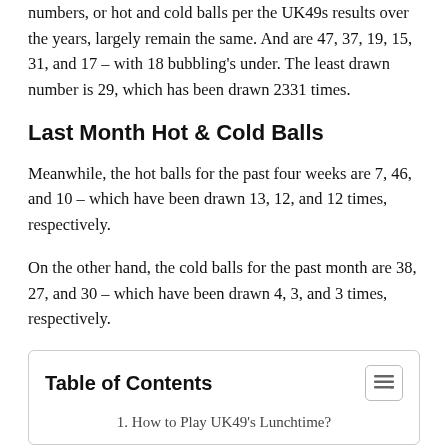numbers, or hot and cold balls per the UK49s results over the years, largely remain the same. And are 47, 37, 19, 15, 31, and 17 – with 18 bubbling's under. The least drawn number is 29, which has been drawn 2331 times.
Last Month Hot & Cold Balls
Meanwhile, the hot balls for the past four weeks are 7, 46, and 10 – which have been drawn 13, 12, and 12 times, respectively.
On the other hand, the cold balls for the past month are 38, 27, and 30 – which have been drawn 4, 3, and 3 times, respectively.
Table of Contents
1. How to Play UK49's Lunchtime?